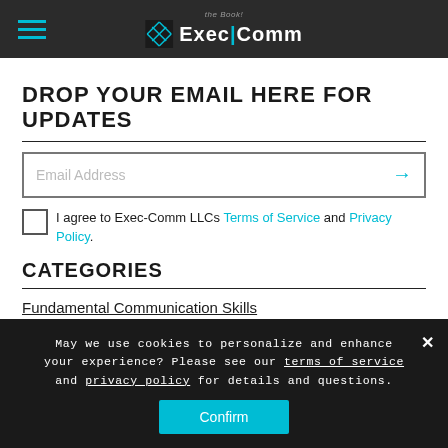Exec|Comm
DROP YOUR EMAIL HERE FOR UPDATES
Email Address
I agree to Exec-Comm LLCs Terms of Service and Privacy Policy.
CATEGORIES
Fundamental Communication Skills
May we use cookies to personalize and enhance your experience? Please see our terms of service and privacy policy for details and questions.